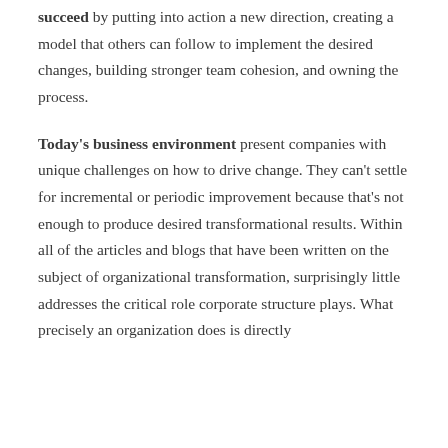succeed by putting into action a new direction, creating a model that others can follow to implement the desired changes, building stronger team cohesion, and owning the process.
Today's business environment present companies with unique challenges on how to drive change. They can't settle for incremental or periodic improvement because that's not enough to produce desired transformational results. Within all of the articles and blogs that have been written on the subject of organizational transformation, surprisingly little addresses the critical role corporate structure plays. What precisely an organization does is directly